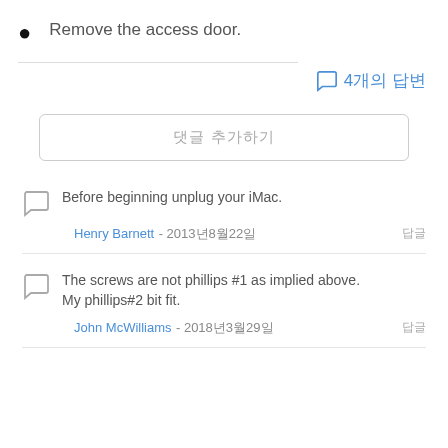Remove the access door.
4개의 답변
댓글 추가하기
Before beginning unplug your iMac.
Henry Barnett - 2013년8월22일
The screws are not phillips #1 as implied above. My phillips#2 bit fit.
John McWilliams - 2018년3월29일